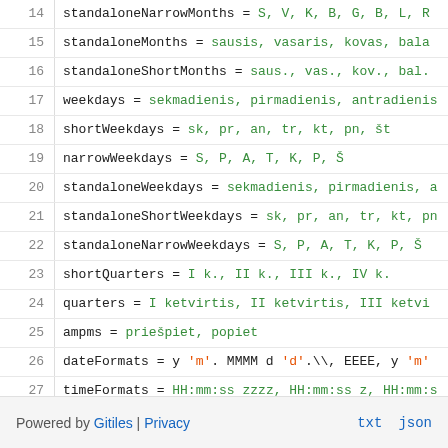14  standaloneNarrowMonths = S, V, K, B, G, B, L, R
15  standaloneMonths = sausis, vasaris, kovas, bala
16  standaloneShortMonths = saus., vas., kov., bal.
17  weekdays = sekmadienis, pirmadienis, antradienis
18  shortWeekdays = sk, pr, an, tr, kt, pn, št
19  narrowWeekdays = S, P, A, T, K, P, Š
20  standaloneWeekdays = sekmadienis, pirmadienis, a
21  standaloneShortWeekdays = sk, pr, an, tr, kt, pn
22  standaloneNarrowWeekdays = S, P, A, T, K, P, Š
23  shortQuarters = I k., II k., III k., IV k.
24  quarters = I ketvirtis, II ketvirtis, III ketvi
25  ampms = priešpiet, popiet
26  dateFormats = y 'm'. MMMM d 'd'.\\, EEEE, y 'm'
27  timeFormats = HH:mm:ss zzzz, HH:mm:ss z, HH:mm:s
28  dateTimeFormats = {1} {0}, {1} {0}, {1} {0}, {1
29  firstDayOfTheWeek = 2
30  weekendRange = 7, 1
Powered by Gitiles | Privacy   txt  json